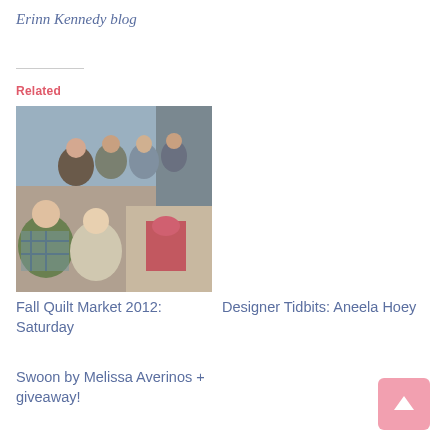Erinn Kennedy blog
Related
[Figure (photo): Group photo of people sitting around a table at Fall Quilt Market 2012]
Fall Quilt Market 2012: Saturday
Designer Tidbits: Aneela Hoey
Swoon by Melissa Averinos + giveaway!